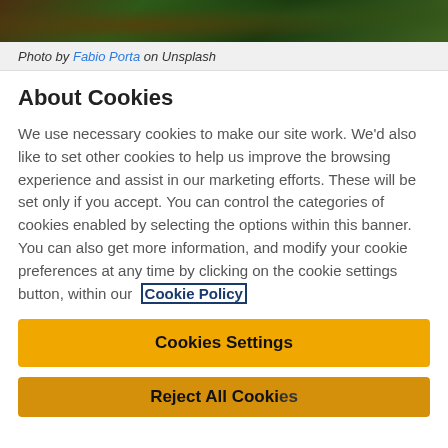[Figure (photo): Photo of Christmas/nature scene with green foliage and warm tones, partially cropped at top]
Photo by Fabio Porta on Unsplash
About Cookies
We use necessary cookies to make our site work. We'd also like to set other cookies to help us improve the browsing experience and assist in our marketing efforts. These will be set only if you accept. You can control the categories of cookies enabled by selecting the options within this banner. You can also get more information, and modify your cookie preferences at any time by clicking on the cookie settings button, within our Cookie Policy
Cookies Settings
Reject All Cookies